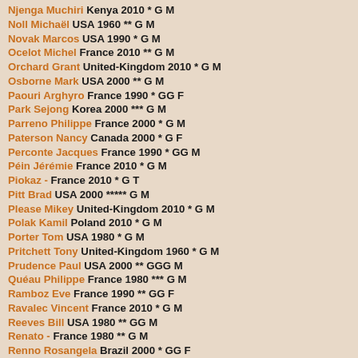Njenga Muchiri Kenya 2010 * G M
Noll Michaël USA 1960 ** G M
Novak Marcos USA 1990 * G M
Ocelot Michel France 2010 ** G M
Orchard Grant United-Kingdom 2010 * G M
Osborne Mark USA 2000 ** G M
Paouri Arghyro France 1990 * GG F
Park Sejong Korea 2000 *** G M
Parreno Philippe France 2000 * G M
Paterson Nancy Canada 2000 * G F
Perconte Jacques France 1990 * GG M
Péin Jérémie France 2010 * G M
Piokaz - France 2010 * G T
Pitt Brad USA 2000 ***** G M
Please Mikey United-Kingdom 2010 * G M
Polak Kamil Poland 2010 * G M
Porter Tom USA 1980 * G M
Pritchett Tony United-Kingdom 1960 * G M
Prudence Paul USA 2000 ** GGG M
Quéau Philippe France 1980 *** G M
Ramboz Eve France 1990 ** GG F
Ravalec Vincent France 2010 * G M
Reeves Bill USA 1980 ** GG M
Renato - France 1980 ** G M
Renno Rosangela Brazil 2000 * GG F
Riewer Eric France 2000 *** G M
Robidou Pierre Canada 1980 * G M
Rovère Pierre France 1970 * G M
Roy Jon USA 1970 * G M
Rybczinski Zbignew Poland 1980 * G M